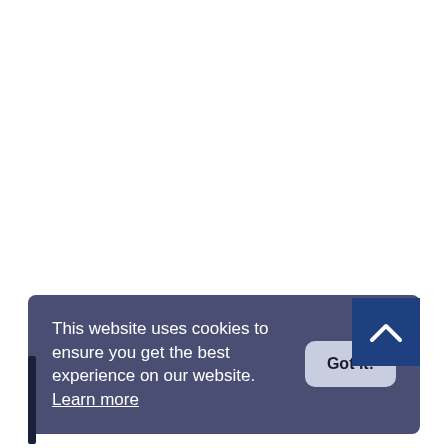[Figure (screenshot): Scroll-to-top button: dark blue square with white chevron/caret pointing upward, positioned at bottom-right of page]
PARTNERS EVENTS
This website uses cookies to ensure you get the best experience on our website. Learn more